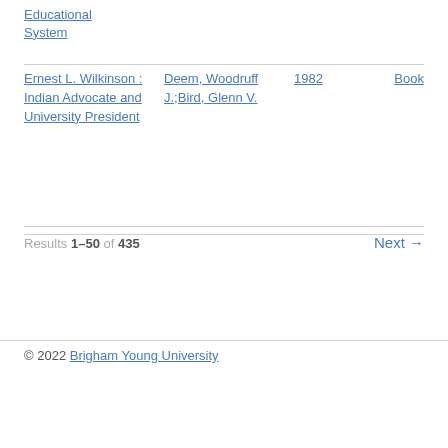Educational System
Ernest L. Wilkinson : Indian Advocate and University President | Deem, Woodruff J.;Bird, Glenn V. | 1982 | Book
Results 1–50 of 435
Next →
© 2022 Brigham Young University